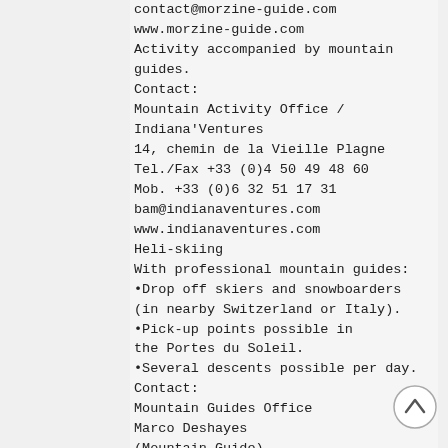contact@morzine-guide.com
www.morzine-guide.com
Activity accompanied by mountain guides.
Contact:
Mountain Activity Office / Indiana'Ventures
14, chemin de la Vieille Plagne
Tel./Fax +33 (0)4 50 49 48 60
Mob. +33 (0)6 32 51 17 31
bam@indianaventures.com
www.indianaventures.com
Heli-skiing
With professional mountain guides:
•Drop off skiers and snowboarders (in nearby Switzerland or Italy).
•Pick-up points possible in the Portes du Soleil.
•Several descents possible per day.
Contact:
Mountain Guides Office
Marco Deshayes
(Mountain Guide)
Mob. +33 (0)6 86 95 43 74